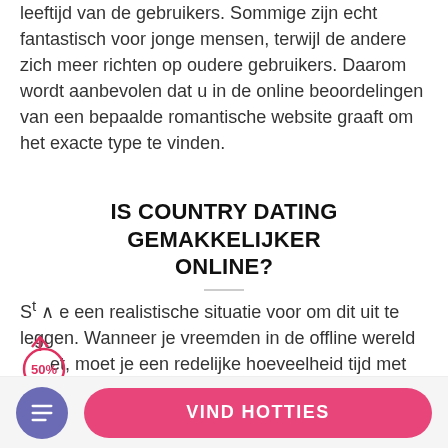leeftijd van de gebruikers. Sommige zijn echt fantastisch voor jonge mensen, terwijl de andere zich meer richten op oudere gebruikers. Daarom wordt aanbevolen dat u in de online beoordelingen van een bepaalde romantische website graaft om het exacte type te vinden.
IS COUNTRY DATING GEMAKKELIJKER ONLINE?
St⌃e een realistische situatie voor om dit uit te leggen. Wanneer je vreemden in de offline wereld (50%) et, moet je een redelijke hoeveelheid tijd met hen doorbrengen om te begrijpen of ze vanuit het hart
[Figure (other): Red circle annotation with 50% label and upward arrow, overlaid on text]
VIND HOTTIES